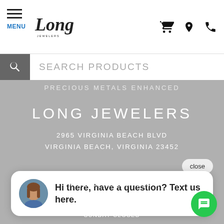MENU — Long Jewelers (navigation bar with cart, location, phone icons)
SEARCH PRODUCTS
PRECIOUS METALS ENHANCED
LONG JEWELERS
2965 VIRGINIA BEACH BLVD
VIRGINIA BEACH, VIRGINIA 23452
[Figure (screenshot): Chat popup widget with avatar photo of a woman and text: Hi there, have a question? Text us here. Close button top right. Green chat FAB button bottom right.]
THURSDAY 10:00AM - 6:00PM
FRIDAY 10:00AM - 6:00PM
SATURDAY 10:00AM - 4:00PM
SUNDAY CLOSED